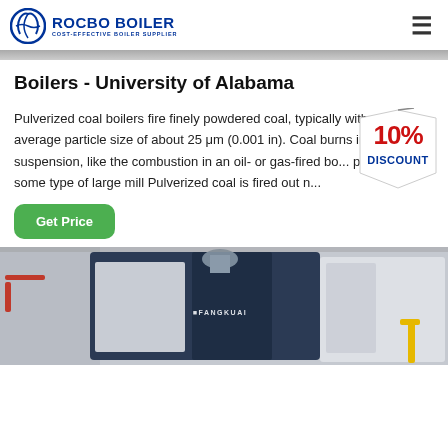ROCBO BOILER - COST-EFFECTIVE BOILER SUPPLIER
[Figure (photo): Horizontal divider image at top of content area]
Boilers - University of Alabama
Pulverized coal boilers fire finely powdered coal, typically with an average particle size of about 25 μm (0.001 in). Coal burns in suspension, like the combustion in an oil- or gas-fired bo... pulverized in some type of large mill Pulverized coal is fired out n...
[Figure (illustration): 10% DISCOUNT badge overlaid on the text section]
[Figure (photo): Industrial boiler equipment photo showing FANGKUAI branded boilers in a facility, with red pipes on left and yellow pipe on right]